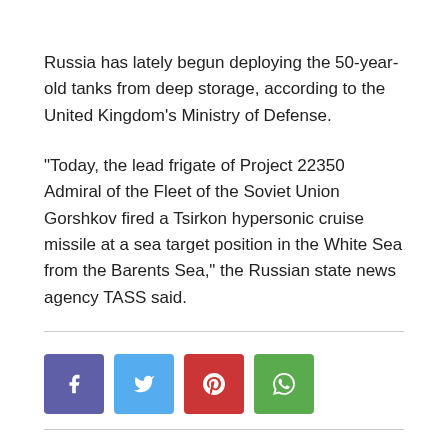Russia has lately begun deploying the 50-year-old tanks from deep storage, according to the United Kingdom's Ministry of Defense.
“Today, the lead frigate of Project 22350 Admiral of the Fleet of the Soviet Union Gorshkov fired a Tsirkon hypersonic cruise missile at a sea target position in the White Sea from the Barents Sea,” the Russian state news agency TASS said.
[Figure (other): Social sharing buttons: Facebook (blue-purple), Twitter (light blue), Pinterest (red), WhatsApp (green)]